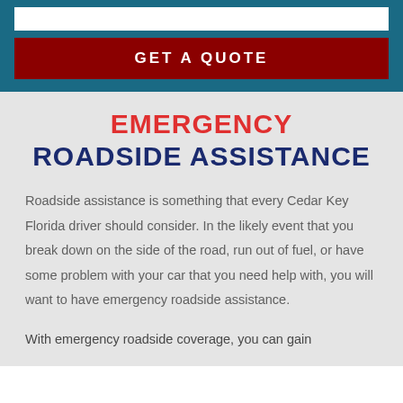[Figure (other): Input field (partial, clipped at top) on dark teal background]
GET A QUOTE
EMERGENCY ROADSIDE ASSISTANCE
Roadside assistance is something that every Cedar Key Florida driver should consider. In the likely event that you break down on the side of the road, run out of fuel, or have some problem with your car that you need help with, you will want to have emergency roadside assistance.
With emergency roadside coverage, you can gain